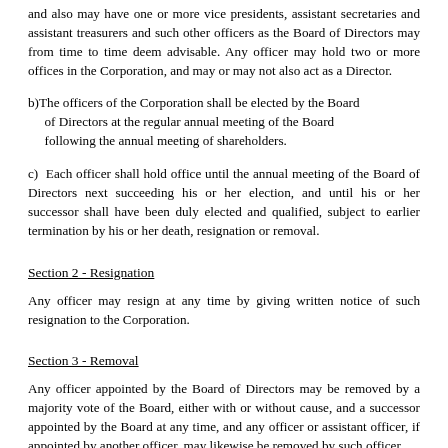and also may have one or more vice presidents, assistant secretaries and assistant treasurers and such other officers as the Board of Directors may from time to time deem advisable. Any officer may hold two or more offices in the Corporation, and may or may not also act as a Director.
b)The officers of the Corporation shall be elected by the Board of Directors at the regular annual meeting of the Board following the annual meeting of shareholders.
c)  Each officer shall hold office until the annual meeting of the Board of Directors next succeeding his or her election, and until his or her successor shall have been duly elected and qualified, subject to earlier termination by his or her death, resignation or removal.
Section 2 - Resignation
Any officer may resign at any time by giving written notice of such resignation to the Corporation.
Section 3 - Removal
Any officer appointed by the Board of Directors may be removed by a majority vote of the Board, either with or without cause, and a successor appointed by the Board at any time, and any officer or assistant officer, if appointed by another officer, may likewise be removed by such officer.